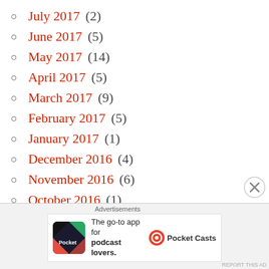July 2017 (2)
June 2017 (5)
May 2017 (14)
April 2017 (5)
March 2017 (9)
February 2017 (5)
January 2017 (1)
December 2016 (4)
November 2016 (6)
October 2016 (1)
September 2016 (3)
August 2016 (7)
Advertisements
[Figure (infographic): Pocket Casts advertisement banner: The go-to app for podcast lovers.]